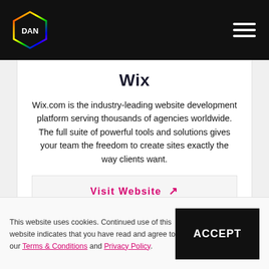DAN
Wix
Wix.com is the industry-leading website development platform serving thousands of agencies worldwide. The full suite of powerful tools and solutions gives your team the freedom to create sites exactly the way clients want.
Visit Website ↗
This website uses cookies. Continued use of this website indicates that you have read and agree to our Terms & Conditions and Privacy Policy.